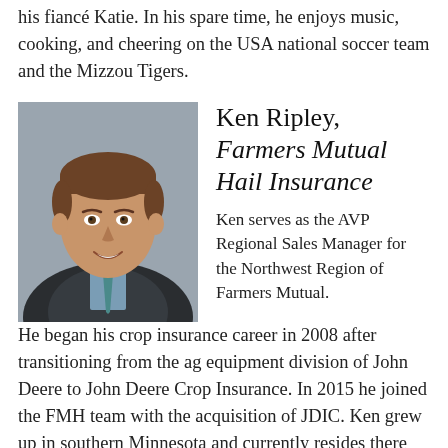his fiancé Katie. In his spare time, he enjoys music, cooking, and cheering on the USA national soccer team and the Mizzou Tigers.
[Figure (photo): Headshot of Ken Ripley, a man in a dark suit with a light blue checkered shirt and teal tie, smiling, against a grey background.]
Ken Ripley, Farmers Mutual Hail Insurance
Ken serves as the AVP Regional Sales Manager for the Northwest Region of Farmers Mutual.  He began his crop insurance career in 2008 after transitioning from the ag equipment division of John Deere to John Deere Crop Insurance.  In 2015 he joined the FMH team with the acquisition of JDIC.  Ken grew up in southern Minnesota and currently resides there with his wife, Sheila.  They have four children and enjoy operating their family